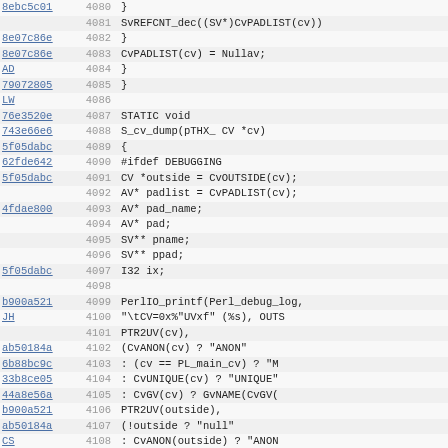| hash | lineno | code |
| --- | --- | --- |
| 8ebc5c01 | 4080 |             } |
|  | 4081 |                 SvREFCNT_dec((SV*)CvPADLIST(cv)) |
| 8e07c86e | 4082 |         } |
| 8e07c86e | 4083 |             CvPADLIST(cv) = Nullav; |
| AD | 4084 |         } |
| 79072805 | 4085 | } |
| LW | 4086 |  |
| 76e3520e | 4087 | STATIC void |
| 743e66e6 | 4088 | S_cv_dump(pTHX_ CV *cv) |
| 5f05dabc | 4089 | { |
| 62fde642 | 4090 | #ifdef DEBUGGING |
| 5f05dabc | 4091 |     CV *outside = CvOUTSIDE(cv); |
|  | 4092 |     AV* padlist = CvPADLIST(cv); |
| 4fdae800 | 4093 |     AV* pad_name; |
|  | 4094 |     AV* pad; |
|  | 4095 |     SV** pname; |
|  | 4096 |     SV** ppad; |
| 5f05dabc | 4097 |     I32 ix; |
|  | 4098 |  |
| b900a521 | 4099 |     PerlIO_printf(Perl_debug_log, |
| JH | 4100 |                     "\tCV=0x%"UVxf" (%s), OUTS |
|  | 4101 |                     PTR2UV(cv), |
| ab50184a | 4102 |                     (CvANON(cv) ? "ANON" |
| 6b88bc9c | 4103 |                      : (cv == PL_main_cv) ? "M |
| 33b8ce05 | 4104 |                      : CvUNIQUE(cv) ? "UNIQUE" |
| 44a8e56a | 4105 |                      : CvGV(cv) ? GvNAME(CvGV( |
| b900a521 | 4106 |                     PTR2UV(outside), |
| ab50184a | 4107 |                     (!outside ? "null" |
| CS | 4108 |                      : CvANON(outside) ? "ANON |
| 6b88bc9c | 4109 |                      : (outside == PL_main_cv) |
| 07055b4c | 4110 |                      : CvUNIQUE(outside) ? "UN |
| 44a8e56a | 4111 |                      : CvGV(outside) ? GvNAME( |
| 5f05dab | 4112 |  |